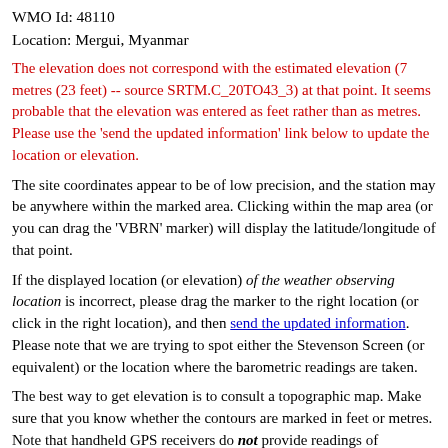WMO Id: 48110
Location: Mergui, Myanmar
The elevation does not correspond with the estimated elevation (7 metres (23 feet) -- source SRTM.C_20TO43_3) at that point. It seems probable that the elevation was entered as feet rather than as metres. Please use the 'send the updated information' link below to update the location or elevation.
The site coordinates appear to be of low precision, and the station may be anywhere within the marked area. Clicking within the map area (or you can drag the 'VBRN' marker) will display the latitude/longitude of that point.
If the displayed location (or elevation) of the weather observing location is incorrect, please drag the marker to the right location (or click in the right location), and then send the updated information. Please note that we are trying to spot either the Stevenson Screen (or equivalent) or the location where the barometric readings are taken.
The best way to get elevation is to consult a topographic map. Make sure that you know whether the contours are marked in feet or metres. Note that handheld GPS receivers do not provide readings of elevation accurate to better than 10-20 metres (technical discussion). If you do not have access to a topographic